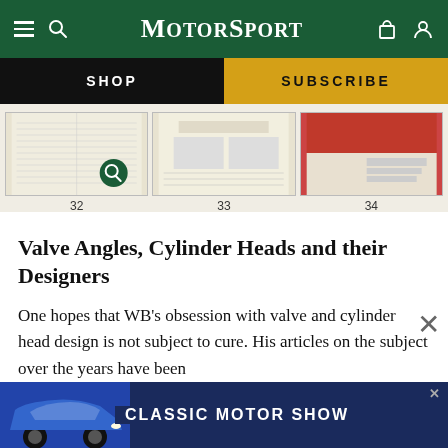MotorSport
[Figure (screenshot): Navigation bar with SHOP and SUBSCRIBE buttons]
[Figure (screenshot): Carousel of three magazine page thumbnails labeled 32, 33, 34]
Valve Angles, Cylinder Heads and their Designers
One hopes that WB's obsession with valve and cylinder head design is not subject to cure. His articles on the subject over the years have been much... tion has s... and
[Figure (screenshot): Classic Motor Show advertisement banner with blue Porsche 911]